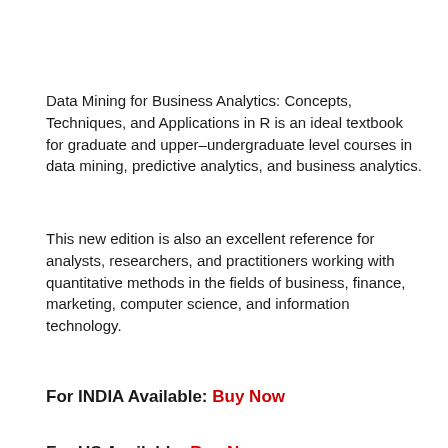Data Mining for Business Analytics: Concepts, Techniques, and Applications in R is an ideal textbook for graduate and upper–undergraduate level courses in data mining, predictive analytics, and business analytics.
This new edition is also an excellent reference for analysts, researchers, and practitioners working with quantitative methods in the fields of business, finance, marketing, computer science, and information technology.
For INDIA Available: Buy Now
For US Available: Buy Now